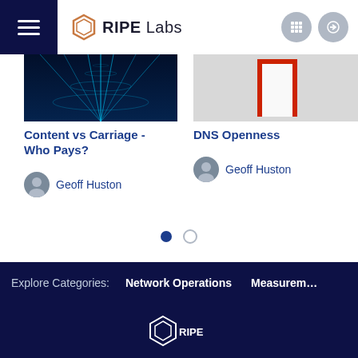RIPE Labs
[Figure (screenshot): Article card image: blue tunnel/highway digital visualization]
Content vs Carriage - Who Pays?
Geoff Huston
[Figure (screenshot): Article card image: red door on white background]
DNS Openness
Geoff Huston
Explore Categories:  Network Operations  Measurem…